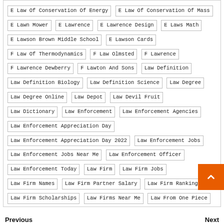E Law Of Conservation Of Energy | E Law Of Conservation Of Mass | E Lawn Mower | E Lawrence | E Lawrence Design | E Laws Math | E Lawson Brown Middle School | E Lawson Cards | F Law Of Thermodynamics | F Law Olmsted | F Lawrence | F Lawrence Dewberry | F Lawton And Sons | Law Definition | Law Definition Biology | Law Definition Science | Law Degree | Law Degree Online | Law Depot | Law Devil Fruit | Law Dictionary | Law Enforcement | Law Enforcement Agencies | Law Enforcement Appreciation Day | Law Enforcement Appreciation Day 2022 | Law Enforcement Jobs | Law Enforcement Jobs Near Me | Law Enforcement Officer | Law Enforcement Today | Law Firm | Law Firm Jobs | Law Firm Names | Law Firm Partner Salary | Law Firm Rankings | Law Firm Scholarships | Law Firms Near Me | Law From One Piece
Previous
Next
Coupon Link Building for Ecommerce: A Step-by-Step Guide
How to Get Backlinks with Resource & Links Pages
MORE STORIES
[Figure (other): Story card thumbnail with dark background and 4 min read badge]